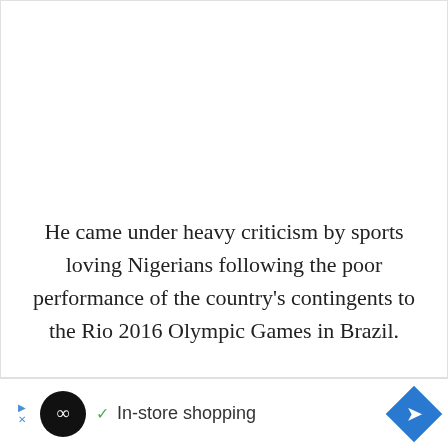He came under heavy criticism by sports loving Nigerians following the poor performance of the country's contingents to the Rio 2016 Olympic Games in Brazil.
[Figure (other): Advertisement banner with Loops Discovery app icon (black circle with infinity symbol), checkmark, text 'In-store shopping', and blue diamond navigation arrow icon]